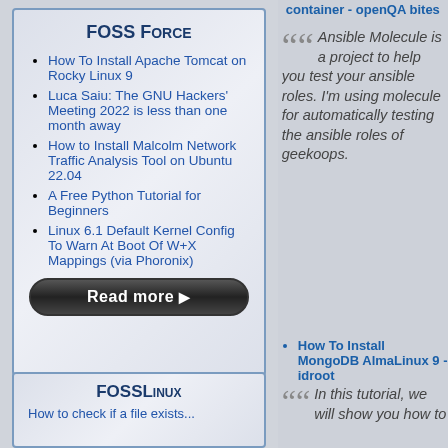container - openQA bites
FOSS Force
How To Install Apache Tomcat on Rocky Linux 9
Luca Saiu: The GNU Hackers&#039; Meeting 2022 is less than one month away
How to Install Malcolm Network Traffic Analysis Tool on Ubuntu 22.04
A Free Python Tutorial for Beginners
Linux 6.1 Default Kernel Config To Warn At Boot Of W+X Mappings (via Phoronix)
FOSSLinux
How to check if a file exists...
Ansible Molecule is a project to help you test your ansible roles. I'm using molecule for automatically testing the ansible roles of geekoops.
How To Install MongoDB AlmaLinux 9 - idroot
In this tutorial, we will show you how to